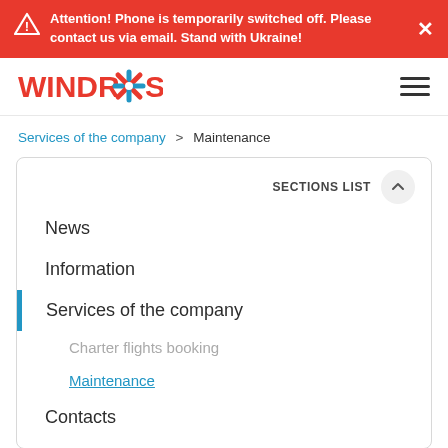Attention! Phone is temporarily switched off. Please contact us via email. Stand with Ukraine!
[Figure (logo): Windrose airline company logo with red text and a blue/red star/compass icon]
Services of the company > Maintenance
SECTIONS LIST
News
Information
Services of the company
Charter flights booking
Maintenance
Contacts